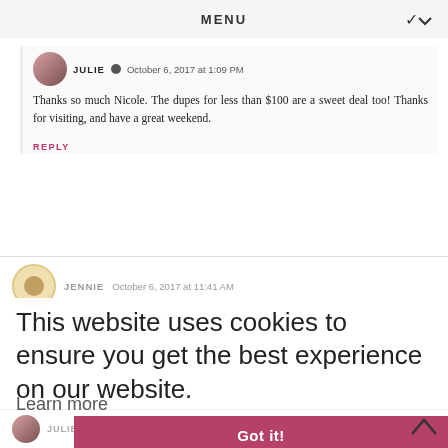MENU
JULIE  October 6, 2017 at 1:09 PM
Thanks so much Nicole. The dupes for less than $100 are a sweet deal too! Thanks for visiting, and have a great weekend.
REPLY
JENNIE  October 6, 2017 at 11:41 AM
This website uses cookies to ensure you get the best experience on our website.
Learn more
REPLY
REPLIES
Got it!
JULIE  October 6, 2017 at 1:10 PM